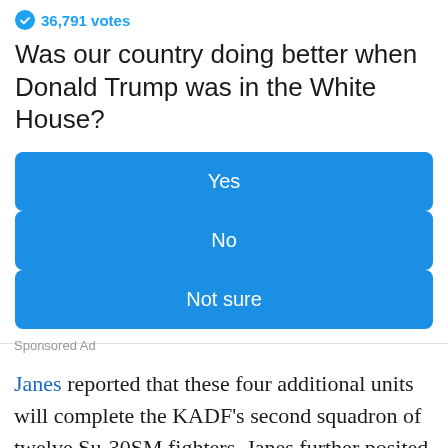36,791 votes
Was our country doing better when Donald Trump was in the White House?
Yes
No
Not sure
Sponsored Ad
Janes reported that these four additional units will complete the KADF's second squadron of twelve Su-30SM fighters. Janes further posited